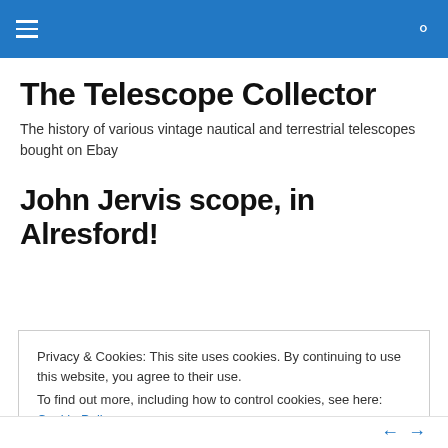Navigation bar with menu and search icons
The Telescope Collector
The history of various vintage nautical and terrestrial telescopes bought on Ebay
John Jervis scope, in Alresford!
Privacy & Cookies: This site uses cookies. By continuing to use this website, you agree to their use.
To find out more, including how to control cookies, see here: Cookie Policy
Close and accept